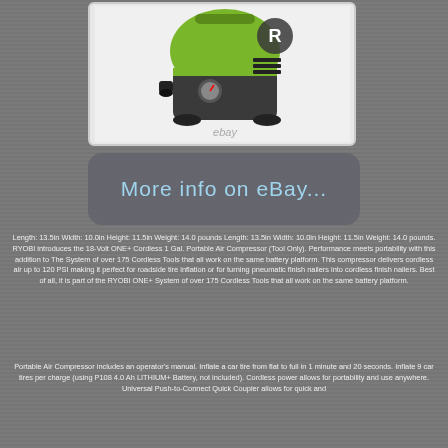[Figure (photo): RYOBI 18-Volt ONE+ Cordless 1 Gal. Portable Air Compressor product image showing green and dark grey compact compressor unit with Ryobi logo, on white background with eBay watermark]
[Figure (other): Rounded rectangle banner with grey background reading 'More info on eBay...' in light blue handwritten-style cursive font]
Length: 13.5in Width: 10.0in Height: 11.5in Weight: 14.0 pounds Length: 13.5in Width: 10.0in Height: 11.5in Weight: 14.0 pounds. RYOBI introduces the 18-Volt ONE+ Cordless 1 Gal. Portable Air Compressor (Tool Only). Performance meets portability with this addition to The System of over 175 Cordless Tools that all work on the same battery platform. This compressor delivers cordless air up to 120 PSI making it perfect for roadside tire inflation or for turning pneumatic finish nailers into cordless finish nailers. Best of all, it is part of the RYOBI ONE+ System of over 175 Cordless Tools that all work on the same battery platform.
Portable Air Compressor includes an operator's manual. Inflate a car tire from flat to full in 1 minute and 20 seconds. Inflate 9 car tires per charge (using P108 4.0 Ah LITHIUM+ Battery, not included). Cordless power allows for portability and use anywhere. Universal Push-to-Connect Quick Coupler allows for quick and